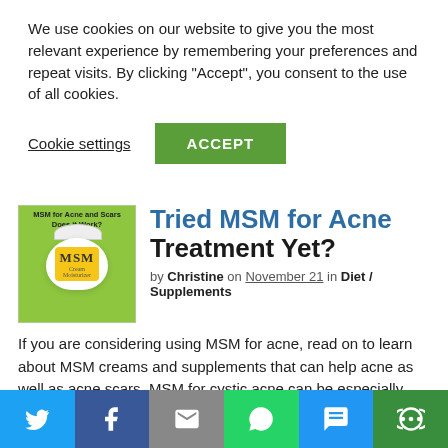We use cookies on our website to give you the most relevant experience by remembering your preferences and repeat visits. By clicking “Accept”, you consent to the use of all cookies.
Cookie settings
ACCEPT
[Figure (photo): MSM cream jar on green background with text 'MSM for Acne and Scars Does it Work?']
Tried MSM for Acne Treatment Yet?
by Christine on November 21 in Diet / Supplements
If you are considering using MSM for acne, read on to learn about MSM creams and supplements that can help acne as well as acne scars. MSM for cystic acne can be especially helpful for some people. WHAT IS MSM? Methylsulfonylmethane (MSM) is a natural sulfur compound produced by the body that helps with forming the bonds [...]
[Figure (infographic): Social sharing bar with Twitter, Facebook, Email, WhatsApp, SMS, and More share buttons]